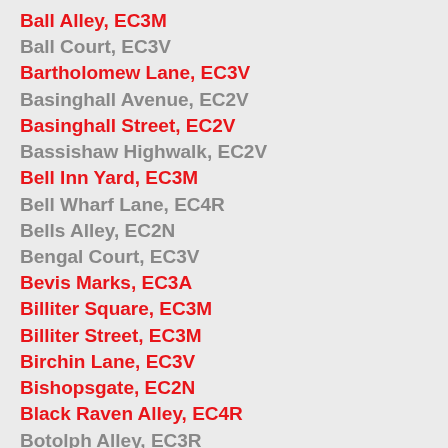Ball Alley, EC3M
Ball Court, EC3V
Bartholomew Lane, EC3V
Basinghall Avenue, EC2V
Basinghall Street, EC2V
Bassishaw Highwalk, EC2V
Bell Inn Yard, EC3M
Bell Wharf Lane, EC4R
Bells Alley, EC2N
Bengal Court, EC3V
Bevis Marks, EC3A
Billiter Square, EC3M
Billiter Street, EC3M
Birchin Lane, EC3V
Bishopsgate, EC2N
Black Raven Alley, EC4R
Botolph Alley, EC3R
Botolph Lane, EC3R
Bow Churchyard, EC2V